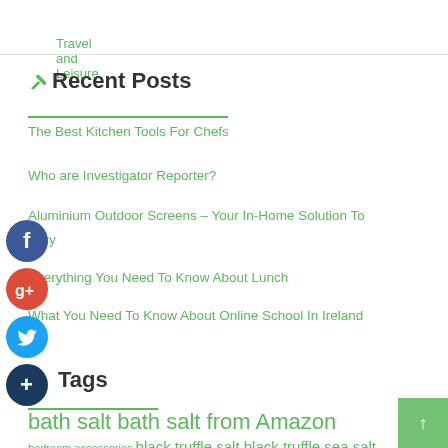Travel and Leisure
✏ Recent Posts
The Best Kitchen Tools For Chefs
Who are Investigator Reporter?
Aluminium Outdoor Screens – Your In-Home Solution To Privacy
Everything You Need To Know About Lunch
What You Need To Know About Online School In Ireland
Tags
bath salt  bath salt from Amazon  bedroom accessories  black truffle salt  black truffle sea salt